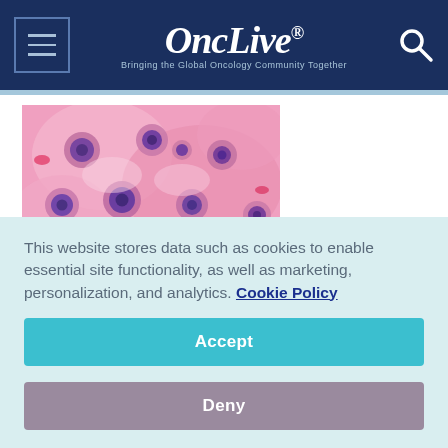OncLive® – Bringing the Global Oncology Community Together
[Figure (photo): Microscopy image showing cancer cells stained pink and purple (hematoxylin and eosin stain), displaying cellular clusters with large nuclei typical of uterine or soft tissue leiomyosarcoma.]
The combination of doxorubicin and trabectedin displayed encouraging activity as first-line therapy in patients with metastatic uterine and soft tissue
This website stores data such as cookies to enable essential site functionality, as well as marketing, personalization, and analytics. Cookie Policy
Accept
Deny